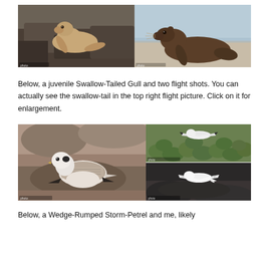[Figure (photo): Two photos side by side: left photo shows a young sea lion (lighter colored, fur seal) on dark rocky surface; right photo shows a darker adult sea lion/fur seal on a sandy/concrete surface near water.]
Below, a juvenile Swallow-Tailed Gull and two flight shots. You can actually see the swallow-tail in the top right flight picture. Click on it for enlargement.
[Figure (photo): Three photos arranged in a composite: a large left photo showing a juvenile Swallow-Tailed Gull resting among rocks (white head with black spot, gray-brown mottled wings); top right photo showing a bird in flight over green cactus vegetation; bottom right photo showing a white bird in flight over dark rocky ground.]
Below, a Wedge-Rumped Storm-Petrel and me, likely